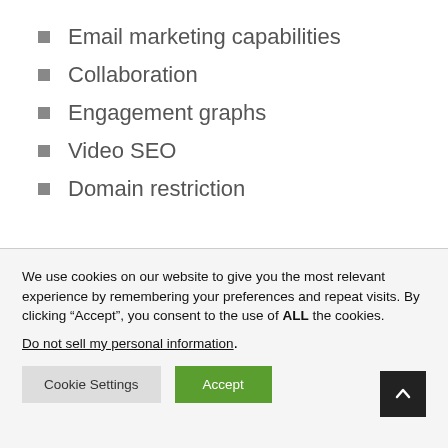Email marketing capabilities
Collaboration
Engagement graphs
Video SEO
Domain restriction
We use cookies on our website to give you the most relevant experience by remembering your preferences and repeat visits. By clicking “Accept”, you consent to the use of ALL the cookies.
Do not sell my personal information.